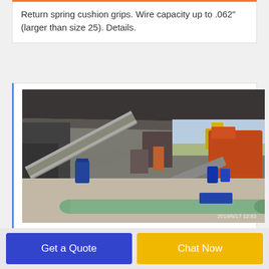Return spring cushion grips. Wire capacity up to .062" (larger than size 25). Details.
[Figure (photo): Industrial warehouse or open-air facility showing conveyor belts, heavy machinery including an orange machine on the right, blue barrels, a long green pipe on the floor, and outdoor construction equipment visible in the background. Timestamp 2019/6/17 12:83 visible in bottom right corner.]
piano wire cutters for sale eBay
Get a Quote
Chat Now